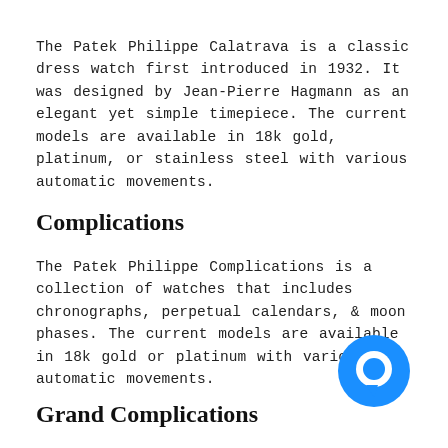The Patek Philippe Calatrava is a classic dress watch first introduced in 1932. It was designed by Jean-Pierre Hagmann as an elegant yet simple timepiece. The current models are available in 18k gold, platinum, or stainless steel with various automatic movements.
Complications
The Patek Philippe Complications is a collection of watches that includes chronographs, perpetual calendars, & moon phases. The current models are available in 18k gold or platinum with various automatic movements.
Grand Complications
[Figure (illustration): Blue circular chat/message icon in the bottom-right area of the page]